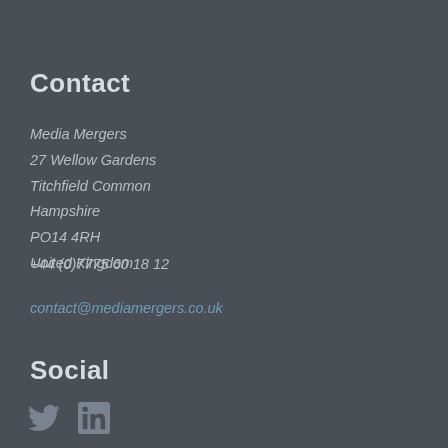Contact
Media Mergers
27 Wellow Gardens
Titchfield Common
Hampshire
PO14 4RH
United Kingdom
+44 (0)7775 60 18 12
contact@mediamergers.co.uk
Social
[Figure (other): Twitter bird icon and LinkedIn 'in' icon, grey colored]